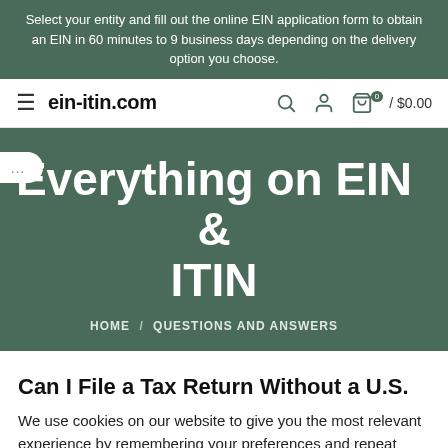Select your entity and fill out the online EIN application form to obtain an EIN in 60 minutes to 9 business days depending on the delivery option you choose.
[Figure (screenshot): Website navigation bar for ein-itin.com with hamburger menu, site logo, search icon, user icon, and cart showing 0 items / $0.00]
Everything on EIN & ITIN
HOME / QUESTIONS AND ANSWERS
Can I File a Tax Return Without a U.S.
We use cookies on our website to give you the most relevant experience by remembering your preferences and repeat visits. By clicking “Accept”, you consent to the use of ALL the cookies.For more detailed information, you can check our cookie policy.